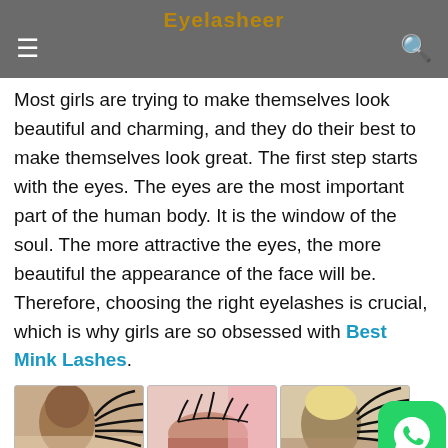Eyelasheer
Most girls are trying to make themselves look beautiful and charming, and they do their best to make themselves look great. The first step starts with the eyes. The eyes are the most important part of the human body. It is the window of the soul. The more attractive the eyes, the more beautiful the appearance of the face will be. Therefore, choosing the right eyelashes is crucial, which is why girls are so obsessed with Best Mink Lashes.
[Figure (photo): Three photos of women with mink eyelashes and a WhatsApp contact button overlay]